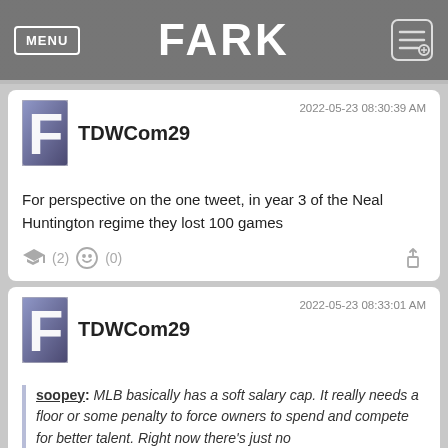FARK
TDWCom29 2022-05-23 08:30:39 AM
For perspective on the one tweet, in year 3 of the Neal Huntington regime they lost 100 games
TDWCom29 2022-05-23 08:33:01 AM
soopey: MLB basically has a soft salary cap. It really needs a floor or some penalty to force owners to spend and compete for better talent. Right now there's just no